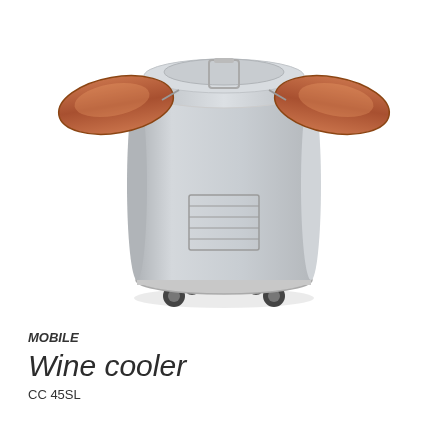[Figure (photo): A cylindrical silver/metallic wine cooler on four black caster wheels, with two round wood-toned side shelves extending from the top, and a wire rack on the front body. The product is shown against a white background.]
MOBILE
Wine cooler
CC 45SL